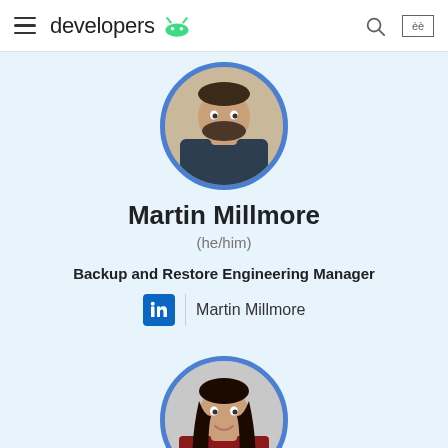developers
[Figure (photo): Profile photo of Martin Millmore, a man with dark beard, shown in a circular frame with blue border]
Martin Millmore
(he/him)
Backup and Restore Engineering Manager
Martin Millmore
[Figure (photo): Profile photo of a woman with long dark hair, shown in a circular frame with blue border, partially visible]